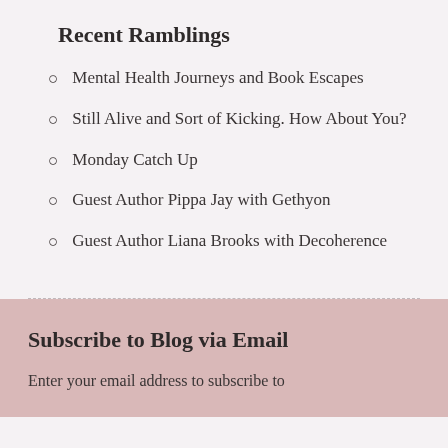Recent Ramblings
Mental Health Journeys and Book Escapes
Still Alive and Sort of Kicking. How About You?
Monday Catch Up
Guest Author Pippa Jay with Gethyon
Guest Author Liana Brooks with Decoherence
Subscribe to Blog via Email
Enter your email address to subscribe to